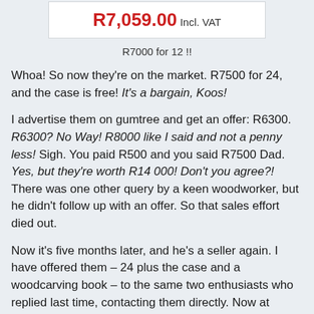[Figure (screenshot): Price box showing R7,059.00 Incl. VAT on white background]
R7000 for 12 !!
Whoa! So now they're on the market. R7500 for 24, and the case is free! It's a bargain, Koos!
I advertise them on gumtree and get an offer: R6300. R6300? No Way! R8000 like I said and not a penny less! Sigh. You paid R500 and you said R7500 Dad. Yes, but they're worth R14 000! Don't you agree?! There was one other query by a keen woodworker, but he didn't follow up with an offer. So that sales effort died out.
Now it's five months later, and he's a seller again. I have offered them – 24 plus the case and a woodcarving book – to the same two enthusiasts who replied last time, contacting them directly. Now at R4500 negotiable. Let's see what happens first, death or taxes.